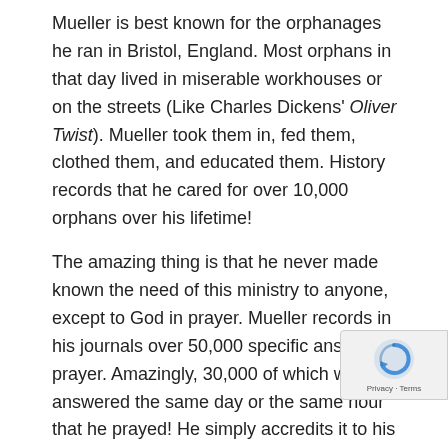Mueller is best known for the orphanages he ran in Bristol, England. Most orphans in that day lived in miserable workhouses or on the streets (Like Charles Dickens' Oliver Twist). Mueller took them in, fed them, clothed them, and educated them. History records that he cared for over 10,000 orphans over his lifetime!
The amazing thing is that he never made known the need of this ministry to anyone, except to God in prayer. Mueller records in his journals over 50,000 specific answers to prayer. Amazingly, 30,000 of which were answered the same day or the same hour that he prayed! He simply accredits it to his availability to pray.
So how will your availability to God mark you as a history maker?
Your personal application:
Ask God to reveal where you need to be more available to Him.